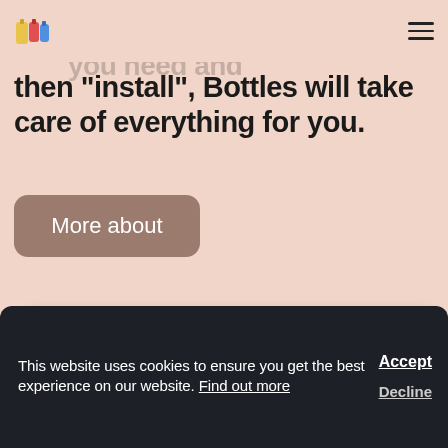Bottles app logo and navigation hamburger menu
Just look for the package you need and then "install", Bottles will take care of everything for you.
More about
[Figure (screenshot): Application window showing Bottles software Dependencies panel with sidebar items (Details & Utilities, Preferences, Dependencies) and content area listing aalmutane dependency with Essentials badge]
This website uses cookies to ensure you get the best experience on our website. Find out more
Decline
Accept